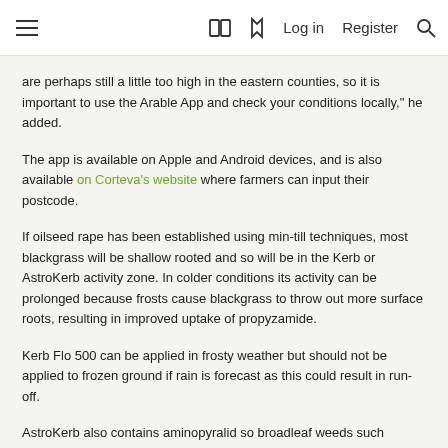☰  □ ⚡ Log in  Register  🔍
are perhaps still a little too high in the eastern counties, so it is important to use the Arable App and check your conditions locally," he added.
The app is available on Apple and Android devices, and is also available on Corteva's website where farmers can input their postcode.
If oilseed rape has been established using min-till techniques, most blackgrass will be shallow rooted and so will be in the Kerb or AstroKerb activity zone. In colder conditions its activity can be prolonged because frosts cause blackgrass to throw out more surface roots, resulting in improved uptake of propyzamide.
Kerb Flo 500 can be applied in frosty weather but should not be applied to frozen ground if rain is forecast as this could result in run-off.
AstroKerb also contains aminopyralid so broadleaf weeds such